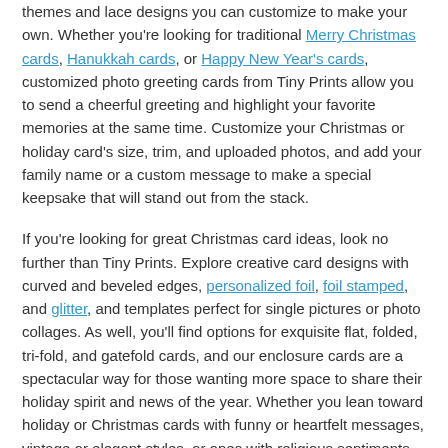themes and lace designs you can customize to make your own. Whether you're looking for traditional Merry Christmas cards, Hanukkah cards, or Happy New Year's cards, customized photo greeting cards from Tiny Prints allow you to send a cheerful greeting and highlight your favorite memories at the same time. Customize your Christmas or holiday card's size, trim, and uploaded photos, and add your family name or a custom message to make a special keepsake that will stand out from the stack.
If you're looking for great Christmas card ideas, look no further than Tiny Prints. Explore creative card designs with curved and beveled edges, personalized foil, foil stamped, and glitter, and templates perfect for single pictures or photo collages. As well, you'll find options for exquisite flat, folded, tri-fold, and gatefold cards, and our enclosure cards are a spectacular way for those wanting more space to share their holiday spirit and news of the year. Whether you lean toward holiday or Christmas cards with funny or heartfelt messages, vintage or elegant styles, or ones with religious sentiments, we have templates designed just for you and yours.
Add Custom Address Labels, Stickers, and Gift Tags
Make a splash when you send thank you cards, birth